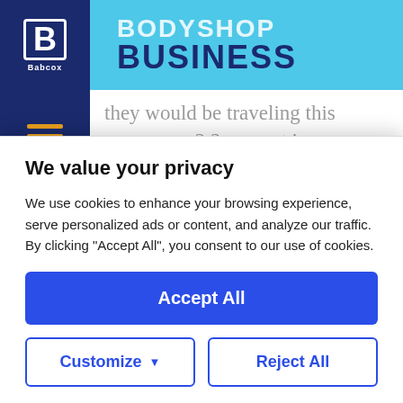BodyShop Business
they would be traveling this summer, a 2.2 percent increase from last year, with an overwhelming majority doing so by car.
By BodyShop Business Staff Writers on May 18, 2016
We value your privacy
We use cookies to enhance your browsing experience, serve personalized ads or content, and analyze our traffic. By clicking "Accept All", you consent to our use of cookies.
Accept All
Customize
Reject All